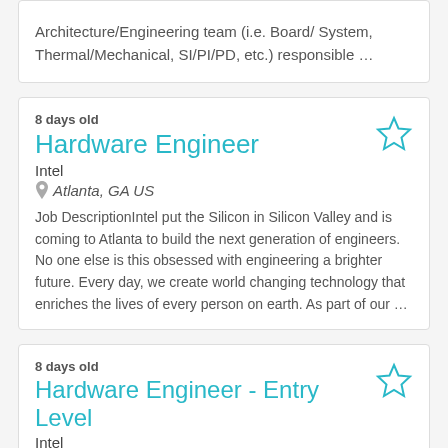Architecture/Engineering team (i.e. Board/ System, Thermal/Mechanical, SI/PI/PD, etc.) responsible …
8 days old
Hardware Engineer
Intel
Atlanta, GA US
Job DescriptionIntel put the Silicon in Silicon Valley and is coming to Atlanta to build the next generation of engineers. No one else is this obsessed with engineering a brighter future. Every day, we create world changing technology that enriches the lives of every person on earth. As part of our …
8 days old
Hardware Engineer - Entry Level
Intel
Atlanta, GA US